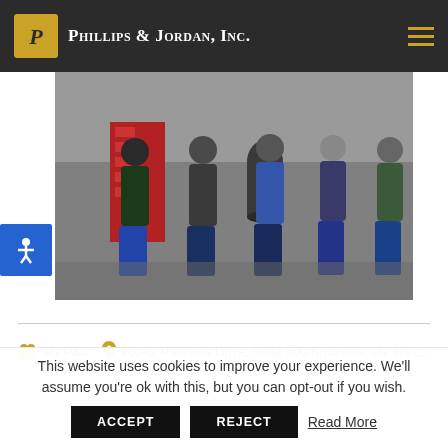Phillips & Jordan, Inc.
[Figure (photo): Five men standing in an industrial warehouse or equipment shop, with red tool cabinets and equipment visible in the background. All are wearing casual work attire.]
My P&J   10142 Parkside Drive, Suite 500 Knoxville, TN 37922
This website uses cookies to improve your experience. We'll assume you're ok with this, but you can opt-out if you wish.
ACCEPT   REJECT   Read More